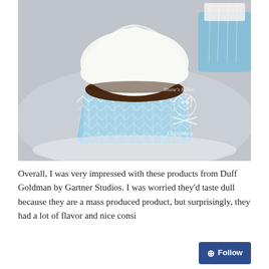[Figure (photo): A chocolate cupcake with white cream cheese frosting in a blue and white checkered/zigzag paper liner, sitting on a white plate or surface. Additional cupcakes visible in background. Watermark reads 'Shane's Killer Cupcakes' with a cupcake skull-and-crossbones logo.]
Overall, I was very impressed with these products from Duff Goldman by Gartner Studios. I was worried they'd taste dull because they are a mass produced product, but surprisingly, they had a lot of flavor and nice consis